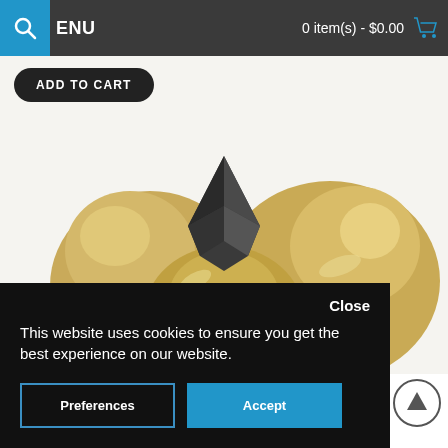MENU   0 item(s) - $0.00
ADD TO CART
[Figure (photo): Close-up product photo of brass/gold-colored metal door knobs or hardware pieces with a dark geometric element in the center]
Close
This website uses cookies to ensure you get the best experience on our website.
Preferences
Accept